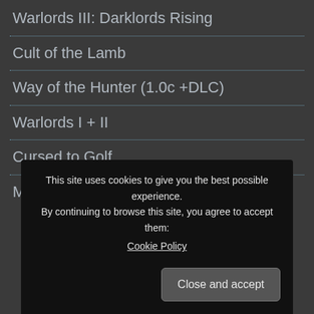Warlords III: Darklords Rising
Cult of the Lamb
Way of the Hunter (1.0c +DLC)
Warlords I + II
Cursed to Golf
Mortal Kombat Trilogy
This site uses cookies to give you the best possible experience. By continuing to browse this site, you agree to accept them: Cookie Policy
Close and accept